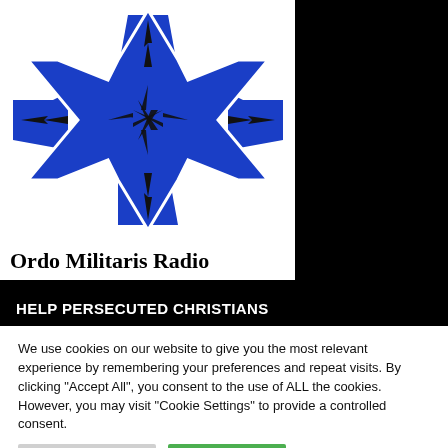[Figure (logo): Ordo Militaris Radio logo: a blue Maltese cross with black lightning bolt symbols, on white background, with text 'Ordo Militaris Radio' below]
HELP PERSECUTED CHRISTIANS
We use cookies on our website to give you the most relevant experience by remembering your preferences and repeat visits. By clicking "Accept All", you consent to the use of ALL the cookies. However, you may visit "Cookie Settings" to provide a controlled consent.
Cookie Settings | Accept All